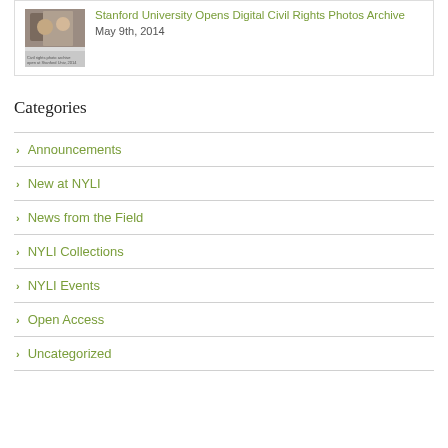[Figure (photo): Thumbnail photo from Stanford University Civil Rights article]
Stanford University Opens Digital Civil Rights Photos Archive
May 9th, 2014
Categories
Announcements
New at NYLI
News from the Field
NYLI Collections
NYLI Events
Open Access
Uncategorized